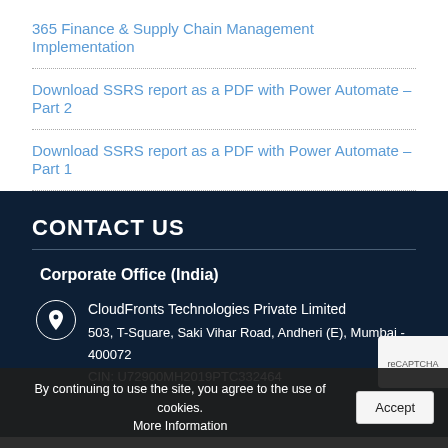365 Finance & Supply Chain Management Implementation
Download SSRS report as a PDF with Power Automate – Part 2
Download SSRS report as a PDF with Power Automate – Part 1
CONTACT US
Corporate Office (India)
CloudFronts Technologies Private Limited
503, T-Square, Saki Vihar Road, Andheri (E), Mumbai - 400072
CIN: U72900MH2019PTC332464
By continuing to use the site, you agree to the use of cookies. More Information | Accept